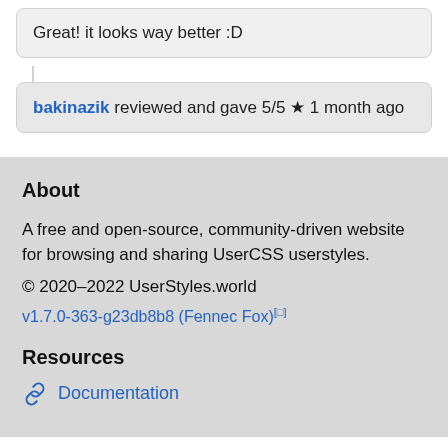Great! it looks way better :D
bakinazik reviewed and gave 5/5 ★ 1 month ago
About
A free and open-source, community-driven website for browsing and sharing UserCSS userstyles.
© 2020–2022 UserStyles.world
v1.7.0-363-g23db8b8 (Fennec Fox)[□]
Resources
Documentation